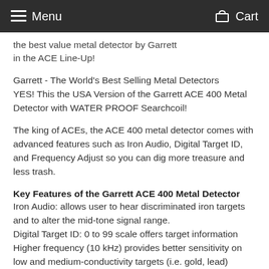Menu   Cart
the best value metal detector by Garrett in the ACE Line-Up!
Garrett - The World's Best Selling Metal Detectors YES! This the USA Version of the Garrett ACE 400 Metal Detector with WATER PROOF Searchcoil!
The king of ACEs, the ACE 400 metal detector comes with advanced features such as Iron Audio, Digital Target ID, and Frequency Adjust so you can dig more treasure and less trash.
Key Features of the Garrett ACE 400 Metal Detector
Iron Audio: allows user to hear discriminated iron targets and to alter the mid-tone signal range.
Digital Target ID: 0 to 99 scale offers target information
Higher frequency (10 kHz) provides better sensitivity on low and medium-conductivity targets (i.e. gold, lead)